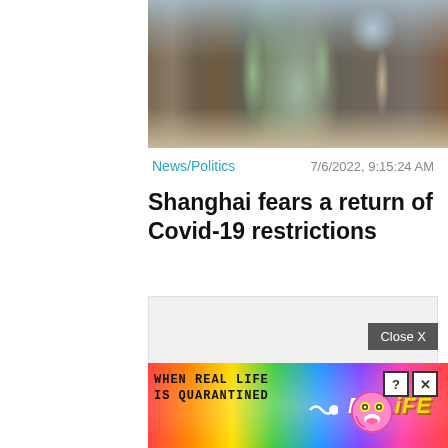[Figure (photo): Street-level photo of a Shanghai urban street with tall commercial buildings, trees, and skyscrapers visible in the background under a partly cloudy sky.]
News/Politics
7/6/2022, 9:15:24 AM
Shanghai fears a return of Covid-19 restrictions
[Figure (other): Gray placeholder advertisement box with a Close X button in the lower right corner.]
[Figure (other): BitLife mobile game advertisement banner with rainbow gradient background, text 'WHEN REAL LIFE IS QUARANTINED', BitLife logo, star-eyes emoji face, and close/help icons.]